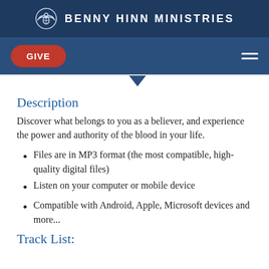BENNY HINN MINISTRIES
Description
Discover what belongs to you as a believer, and experience the power and authority of the blood in your life.
Files are in MP3 format (the most compatible, high-quality digital files)
Listen on your computer or mobile device
Compatible with Android, Apple, Microsoft devices and more...
Track List: